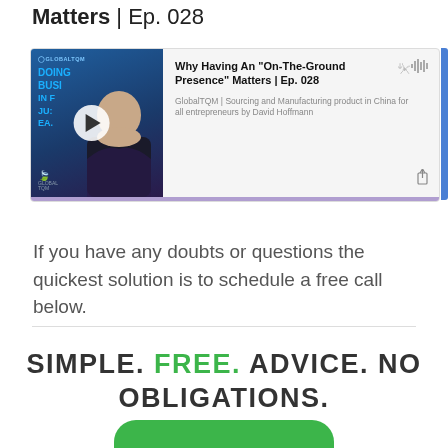Matters | Ep. 028
[Figure (screenshot): Podcast embed card for GlobalTQM episode 028: Why Having An On-The-Ground Presence Matters, with thumbnail image of podcast host, play button, waveform icon, subtitle text, and purple progress bar.]
If you have any doubts or questions the quickest solution is to schedule a free call below.
SIMPLE. FREE. ADVICE. NO OBLIGATIONS.